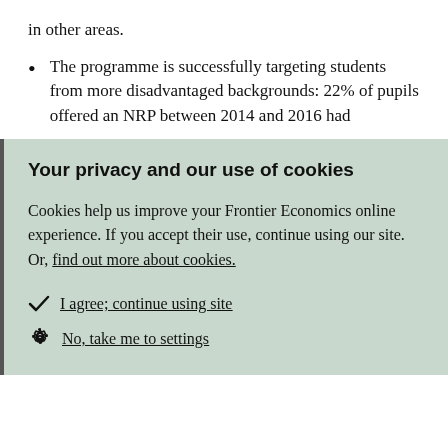in other areas.
The programme is successfully targeting students from more disadvantaged backgrounds: 22% of pupils offered an NRP between 2014 and 2016 had
Your privacy and our use of cookies
Cookies help us improve your Frontier Economics online experience. If you accept their use, continue using our site. Or, find out more about cookies.
I agree; continue using site
No, take me to settings